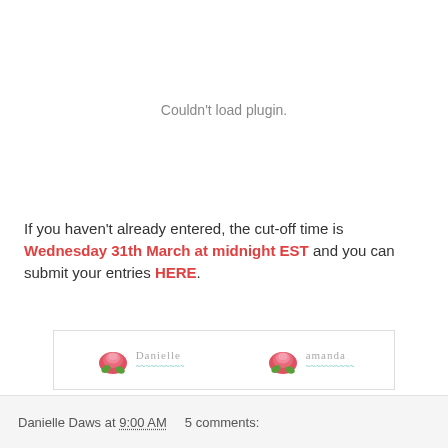[Figure (other): Embedded plugin area showing 'Couldn't load plugin.' error message]
If you haven't already entered, the cut-off time is Wednesday 31th March at midnight EST and you can submit your entries HERE.
[Figure (illustration): Signature banner with two floral rose signatures: 'Danielle' and 'amanda' with decorative roses]
Danielle Daws at 9:00 AM   5 comments: